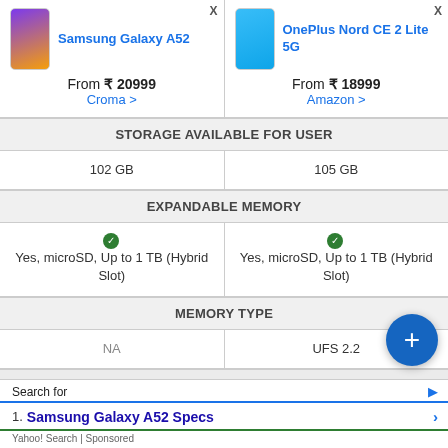| Samsung Galaxy A52 | OnePlus Nord CE 2 Lite 5G |
| --- | --- |
| From ₹ 20999
Croma > | From ₹ 18999
Amazon > |
| STORAGE AVAILABLE FOR USER | STORAGE AVAILABLE FOR USER |
| 102 GB | 105 GB |
| EXPANDABLE MEMORY | EXPANDABLE MEMORY |
| ✓ Yes, microSD, Up to 1 TB (Hybrid Slot) | ✓ Yes, microSD, Up to 1 TB (Hybrid Slot) |
| MEMORY TYPE | MEMORY TYPE |
| NA | UFS 2.2 |
| CONNECTIVITY | CONNECTIVITY |
| SIM CONFIGURATION | SIM CONFIGURATION |
[Figure (screenshot): Blue circular FAB button with + sign]
Search for
1. Samsung Galaxy A52 Specs
Yahoo! Search | Sponsored